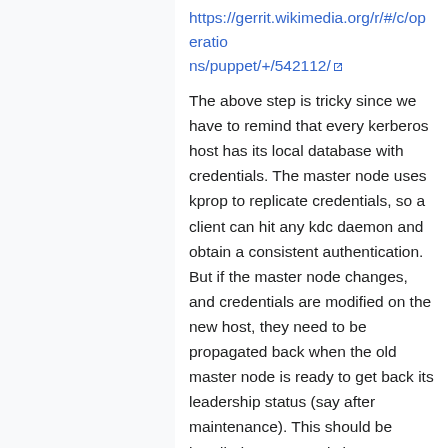https://gerrit.wikimedia.org/r/#/c/operations/puppet/+/542112/
The above step is tricky since we have to remind that every kerberos host has its local database with credentials. The master node uses kprop to replicate credentials, so a client can hit any kdc daemon and obtain a consistent authentication. But if the master node changes, and credentials are modified on the new host, they need to be propagated back when the old master node is ready to get back its leadership status (say after maintenance). This should be handled transparently by puppet when changing the hiera configuration, but some care is needed by the operator to triple check that everything happens correctly.